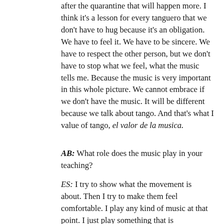after the quarantine that will happen more. I think it's a lesson for every tanguero that we don't have to hug because it's an obligation. We have to feel it. We have to be sincere. We have to respect the other person, but we don't have to stop what we feel, what the music tells me. Because the music is very important in this whole picture. We cannot embrace if we don't have the music. It will be different because we talk about tango. And that's what I value of tango, el valor de la musica.
AB: What role does the music play in your teaching?
ES: I try to show what the movement is about. Then I try to make them feel comfortable. I play any kind of music at that point. I just play something that is comfortable, something that relaxes, something that is easy because there are a lot of elements that people need to incorporate before they accept the music. They know they like something in the music, but they don't know exactly what it is. In some way it was the same for me. At